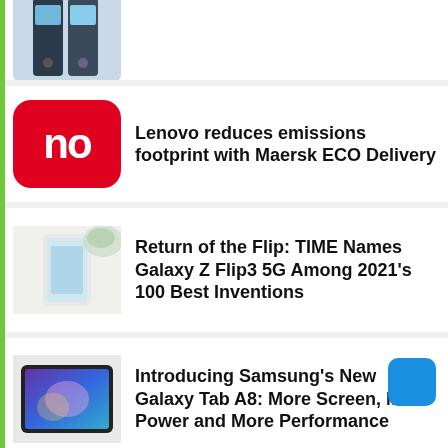The Best Xiaomi 12 Screen Protector
Lenovo reduces emissions footprint with Maersk ECO Delivery
Return of the Flip: TIME Names Galaxy Z Flip3 5G Among 2021's 100 Best Inventions
Introducing Samsung's New Galaxy Tab A8: More Screen, More Power and More Performance
Samsung Galaxy Tab A8: Get More Out of Everything You Do
The Best case for Xiaomi 12